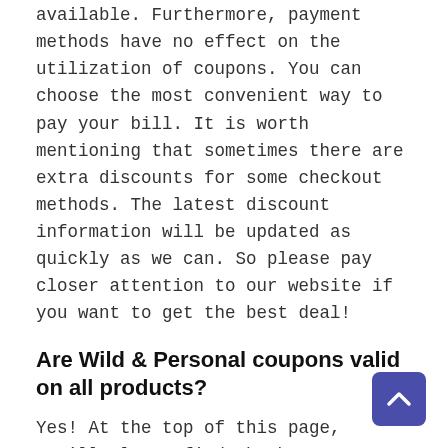available. Furthermore, payment methods have no effect on the utilization of coupons. You can choose the most convenient way to pay your bill. It is worth mentioning that sometimes there are extra discounts for some checkout methods. The latest discount information will be updated as quickly as we can. So please pay closer attention to our website if you want to get the best deal!
Are Wild & Personal coupons valid on all products?
Yes! At the top of this page, you'll always find the best coupon codes, which will allow you to save as much money as possible. However, some coupons may have restrictions such as only being valid for certain products, or only being valid if you spend over a certain amount of money. If the initial Wild & Personal code you try does not work, you might need to try a few alternative ones. The finest codes will be updated periodically for you, so make sure to check